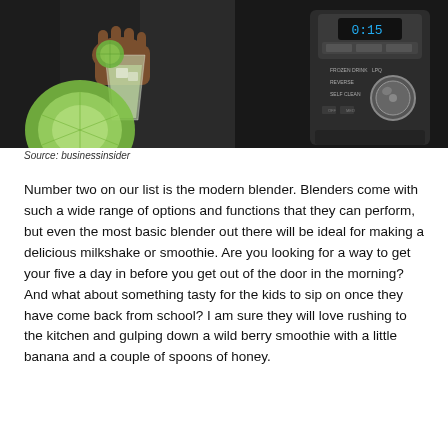[Figure (photo): A person holding a margarita glass with lime next to a modern blender with a digital display showing 0:15]
Source: businessinsider
Number two on our list is the modern blender. Blenders come with such a wide range of options and functions that they can perform, but even the most basic blender out there will be ideal for making a delicious milkshake or smoothie. Are you looking for a way to get your five a day in before you get out of the door in the morning? And what about something tasty for the kids to sip on once they have come back from school? I am sure they will love rushing to the kitchen and gulping down a wild berry smoothie with a little banana and a couple of spoons of honey.